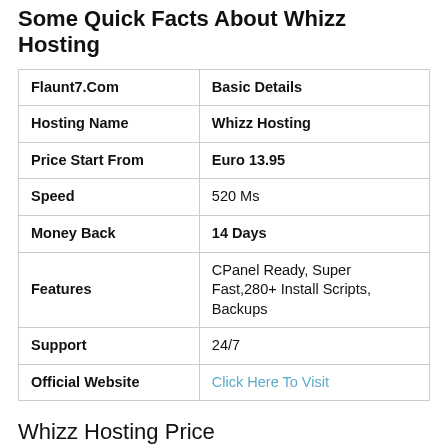Some Quick Facts About Whizz Hosting
| Flaunt7.Com | Basic Details |
| --- | --- |
| Hosting Name | Whizz Hosting |
| Price Start From | Euro 13.95 |
| Speed | 520 Ms |
| Money Back | 14 Days |
| Features | CPanel Ready, Super Fast,280+ Install Scripts, Backups |
| Support | 24/7 |
| Official Website | Click Here To Visit |
Whizz Hosting Price
With A Range Of Cheap Hosting Plans, Whizz Hosting